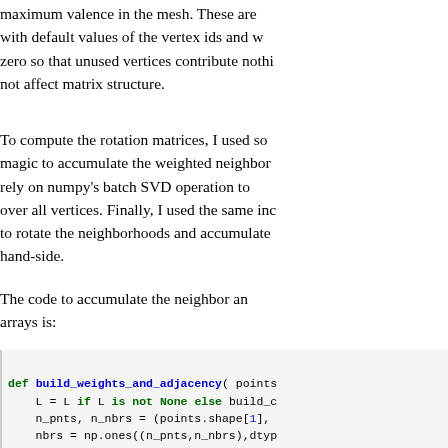maximum valence in the mesh. These are with default values of the vertex ids and w zero so that unused vertices contribute nothi not affect matrix structure.
To compute the rotation matrices, I used so magic to accumulate the weighted neighbor rely on numpy's batch SVD operation to over all vertices. Finally, I used the same inc to rotate the neighborhoods and accumulate hand-side.
The code to accumulate the neighbor an arrays is:
def build_weights_and_adjacency( points
    L = L if L is not None else build_c
    n_pnts, n_nbrs = (points.shape[1],
    nbrs = np.ones((n_pnts,n_nbrs),dtyp
    wgts = np.zeros((n_pnts,n_nbrs),dty

    for idx,col in enumerate(L):
        msk = col.indices != idx
        indices = col.indices[msk]